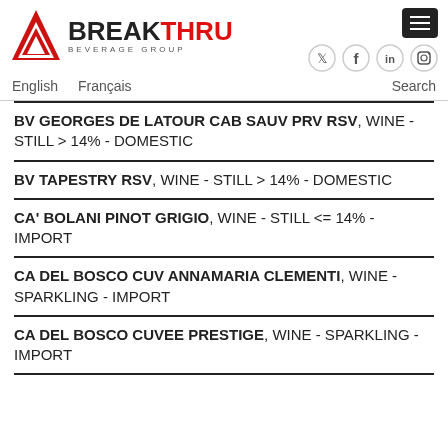BREAKTHRU BEVERAGE GROUP
BV GEORGES DE LATOUR CAB SAUV PRV RSV, WINE - STILL > 14% - DOMESTIC
BV TAPESTRY RSV, WINE - STILL > 14% - DOMESTIC
CA' BOLANI PINOT GRIGIO, WINE - STILL <= 14% - IMPORT
CA DEL BOSCO CUV ANNAMARIA CLEMENTI, WINE - SPARKLING - IMPORT
CA DEL BOSCO CUVEE PRESTIGE, WINE - SPARKLING - IMPORT